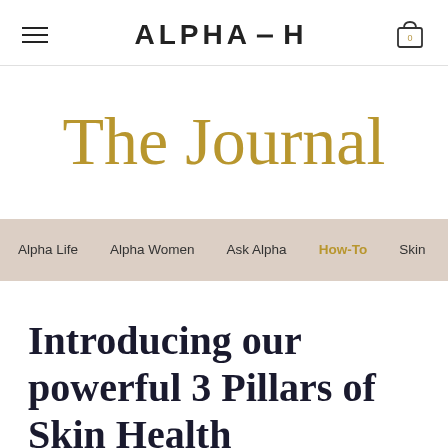ALPHA-H
The Journal
Alpha Life   Alpha Women   Ask Alpha   How-To   Skin
Introducing our powerful 3 Pillars of Skin Health